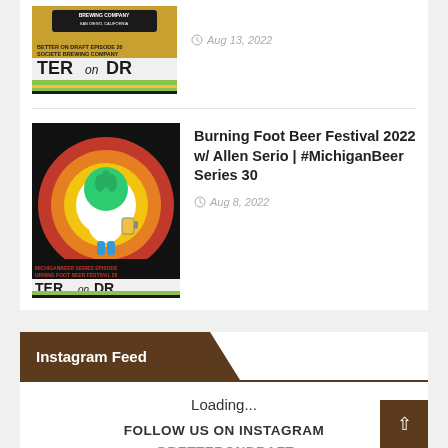[Figure (photo): Podcast episode thumbnail for Better On Draft featuring Societe Brewing Company, San Diego California. Shows 'BETTER ON DRAFT EPISODE 20 SOCIETE BREWING COMPANY' text and 'TERonDR' logo with green/yellow striped bar.]
Aug 13, 2022
[Figure (illustration): Podcast episode thumbnail for MichiganBeer Series Episode about Burning Foot Beer Festival 2022. Shows a cartoon hop character wearing a white shirt and holding a beer against a black background with red/yellow concentric circles. Text reads 'MICHIGANBEER SERIES EPISODE URNING FOOT BEER FESTIVAL 20' and 'TERonDR' logo.]
Burning Foot Beer Festival 2022 w/ Allen Serio | #MichiganBeer Series 30
Aug 8, 2022
Instagram Feed
Loading...
FOLLOW US ON INSTAGRAM
@BETTERONDRAFT